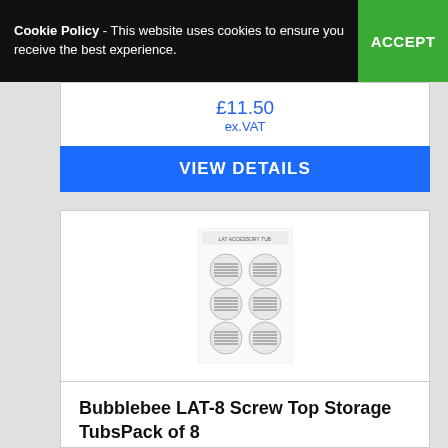Cookie Policy - This website uses cookies to ensure you receive the best experience. ACCEPT
£11.50 ex.VAT
VIEW DETAILS
[Figure (photo): Bubblebee LAT-8 Screw Top Storage Tubs, Pack of 8 — product packaging image showing 8 small round screw-top tubs arranged in a grid on a white card]
Bubblebee LAT-8 Screw Top Storage TubsPack of 8
£13.80 inc. VAT